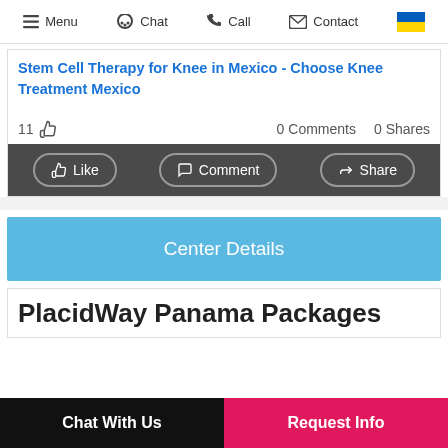Menu  Chat  Call  Contact
Stem Cell Therapy for Knee in Mexico - Choose Knee Treatment Mexico
11 👍   0 Comments   0 Shares
👍 Like   💬 Comment   ➤ Share
Center Details
PlacidWay Panama Packages
Chat With Us   Request Info